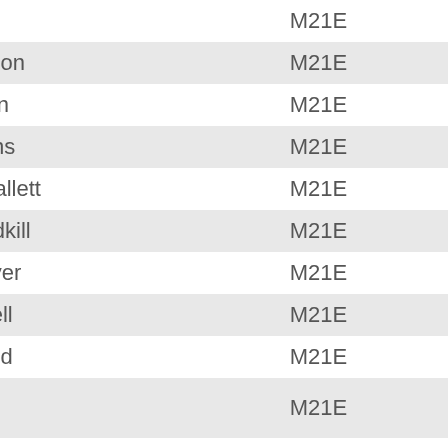| # | Name | Category |
| --- | --- | --- |
| 14 | Calabro | M21E |
| 15 | Ian Anderson | M21E |
| 16 | Louis Elson | M21E |
| 17 | Paul Liggins | M21E |
| 18 | Lachlan Hallett | M21E |
| 19 | Steven Todkill | M21E |
| 20 | Glenn Meyer | M21E |
| 21 | Terry Farrell | M21E |
| 22 | Aaron Dodd | M21E |
| 23 | Simon Goddard | M21E |
| 24 | Stewart Cathiness | M21E |
| 25 | Wesley Dose | M21E |
| 26 | Rory Finlay | M21E |
| 27 | Mathieu ... | M21E |